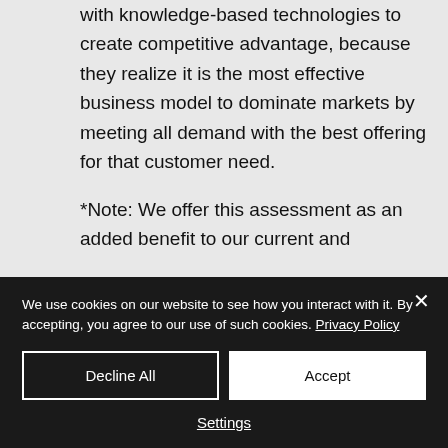with knowledge-based technologies to create competitive advantage, because they realize it is the most effective business model to dominate markets by meeting all demand with the best offering for that customer need.
*Note: We offer this assessment as an added benefit to our current and
We use cookies on our website to see how you interact with it. By accepting, you agree to our use of such cookies. Privacy Policy